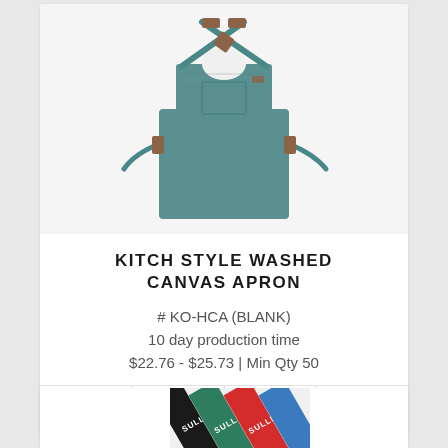[Figure (photo): Teal/green washed canvas apron with brown leather cross-back straps and a front chest pocket, shown laid flat on white background]
KITCH STYLE WASHED CANVAS APRON
# KO-HCA (BLANK)
10 day production time
$22.76 - $25.73 | Min Qty 50
[Figure (other): Four icon buttons: shopping cart, envelope/email, info circle, and list/menu]
[Figure (photo): Partial view of colorful lanyards with SULLIVAN text printed on them in multiple colors]